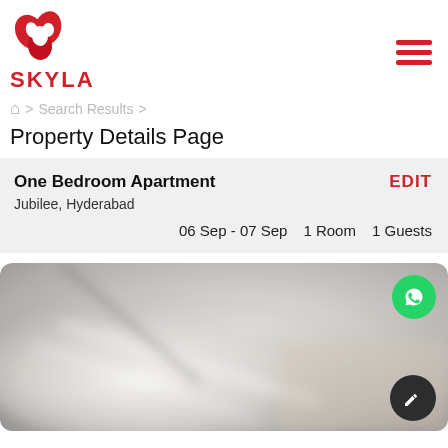[Figure (logo): Skyla logo: red stylized house/leaf icon above text SKYLA in red]
Search Results
Property Details Page
One Bedroom Apartment
Jubilee, Hyderabad
06 Sep - 07 Sep   1 Room   1 Guests
EDIT
[Figure (photo): Blurred close-up photo of a white plate or room surface, with WhatsApp icon button (green circle) top-right and a dark edit pencil button bottom-right]